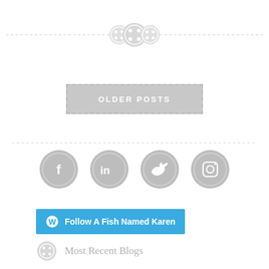[Figure (illustration): Decorative dashed horizontal line with three button icons in the center]
[Figure (illustration): OLDER POSTS button with dashed border on grey background]
[Figure (illustration): Dashed horizontal divider line]
[Figure (illustration): Four social media icons (Facebook, LinkedIn, Twitter, Instagram) as grey circles]
[Figure (illustration): WordPress Follow button: Follow A Fish Named Karen]
[Figure (illustration): Most Recent Blogs section header with button icon]